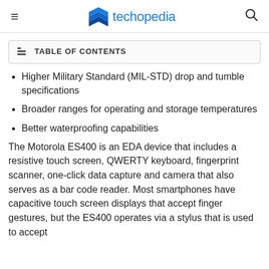techopedia
TABLE OF CONTENTS
Higher Military Standard (MIL-STD) drop and tumble specifications
Broader ranges for operating and storage temperatures
Better waterproofing capabilities
The Motorola ES400 is an EDA device that includes a resistive touch screen, QWERTY keyboard, fingerprint scanner, one-click data capture and camera that also serves as a bar code reader. Most smartphones have capacitive touch screen displays that accept finger gestures, but the ES400 operates via a stylus that is used to accept